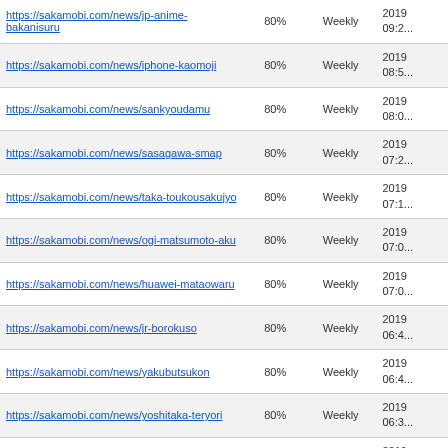| URL | Priority | Change Freq | Last Modified |
| --- | --- | --- | --- |
| https://sakamobi.com/news/jp-anime-bakanisuru | 80% | Weekly | 2019 09:2... |
| https://sakamobi.com/news/iphone-kaomoji | 80% | Weekly | 2019 08:5... |
| https://sakamobi.com/news/sankyoudamu | 80% | Weekly | 2019 08:0... |
| https://sakamobi.com/news/sasagawa-smap | 80% | Weekly | 2019 07:2... |
| https://sakamobi.com/news/taka-toukousakujyo | 80% | Weekly | 2019 07:1... |
| https://sakamobi.com/news/ogi-matsumoto-aku | 80% | Weekly | 2019 07:0... |
| https://sakamobi.com/news/huawei-mataowaru | 80% | Weekly | 2019 07:0... |
| https://sakamobi.com/news/jr-borokuso | 80% | Weekly | 2019 06:4... |
| https://sakamobi.com/news/yakubutsukon | 80% | Weekly | 2019 06:4... |
| https://sakamobi.com/news/yoshitaka-teryori | 80% | Weekly | 2019 06:3... |
| https://sakamobi.com/news/yoshimoto-jyogekankei | 80% | Weekly | 2019 06:3... |
| https://sakamobi.com/news/ishiharasatomi-hakyoku-2 | 80% | Weekly | 2019 06:3... |
| https://sakamobi.com/news/mokomichi-ryoriten | 80% | Weekly | 2019 06:0... |
| https://sakamobi.com/news/yoshimoto-ikenomedaka | 80% | Weekly | 2019 05:3... |
| https://sakamobi.com/news/yamamotokeiichi-insta | 80% | Weekly | 2019 05:3... |
| https://sakamobi.com/news/hamata-heijyounten | 80% | Weekly | 2019 ... |